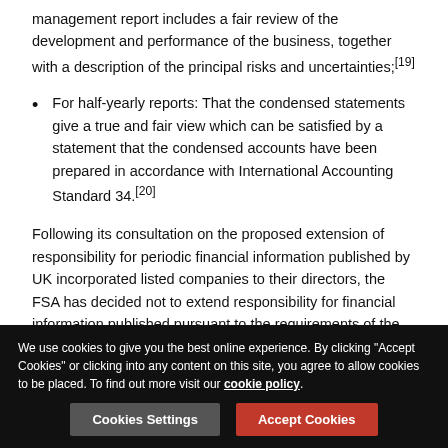management report includes a fair review of the development and performance of the business, together with a description of the principal risks and uncertainties;[19]
For half-yearly reports: That the condensed statements give a true and fair view which can be satisfied by a statement that the condensed accounts have been prepared in accordance with International Accounting Standard 34.[20]
Following its consultation on the proposed extension of responsibility for periodic financial information published by UK incorporated listed companies to their directors, the FSA has decided not to extend responsibility for financial information published pursuant to the requirements of the Listing Rules or DTR beyond the company. Responsibility
We use cookies to give you the best online experience. By clicking "Accept Cookies" or clicking into any content on this site, you agree to allow cookies to be placed. To find out more visit our cookie policy.